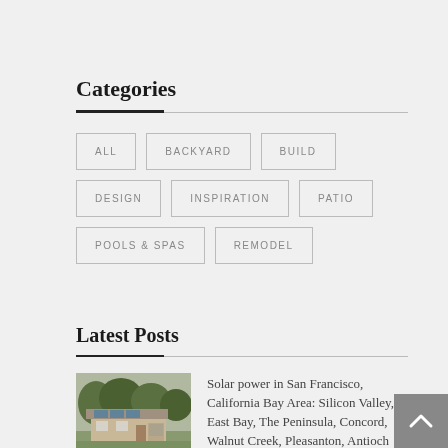Categories
ALL
BACKYARD
BUILD
DESIGN
INSPIRATION
PATIO
POOLS & SPAS
REMODEL
Latest Posts
[Figure (photo): Aerial/exterior view of a house with solar panels and surrounding trees]
Solar power in San Francisco, California Bay Area: Silicon Valley, East Bay, The Peninsula, Concord, Walnut Creek, Pleasanton, Antioch